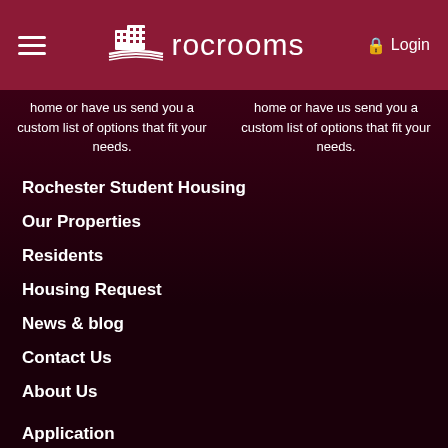rocrooms — Login
home or have us send you a custom list of options that fit your needs.
Rochester Student Housing
Our Properties
Residents
Housing Request
News & blog
Contact Us
About Us
Application
Property Management
Work Exchange Program